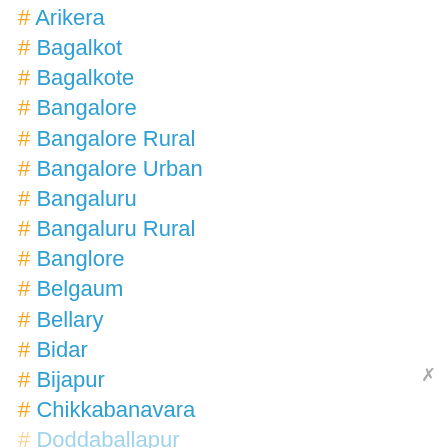# Arikera
# Bagalkot
# Bagalkote
# Bangalore
# Bangalore Rural
# Bangalore Urban
# Bangaluru
# Bangaluru Rural
# Banglore
# Belgaum
# Bellary
# Bidar
# Bijapur
# Chikkabanavara
# Doddaballapur